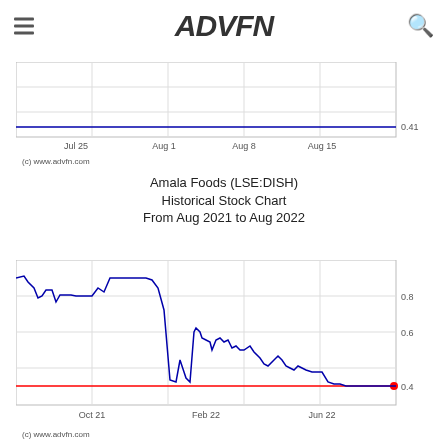[Figure (logo): ADVFN logo with hamburger menu icon and search icon]
[Figure (line-chart): Partial stock chart showing flat line around 0.41 from Jul 25 to Aug 15]
(c) www.advfn.com
Amala Foods (LSE:DISH)
Historical Stock Chart
From Aug 2021 to Aug 2022
[Figure (line-chart): Blue line chart showing stock price from Aug 2021 to Aug 2022, starting high around 0.9, dropping sharply around Feb 2022 to around 0.4-0.5, with red horizontal reference line at 0.4]
(c) www.advfn.com